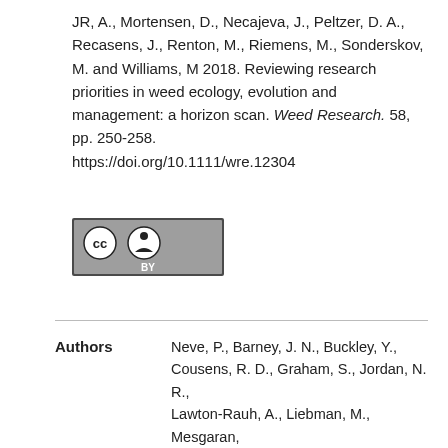JR, A., Mortensen, D., Necajeva, J., Peltzer, D. A., Recasens, J., Renton, M., Riemens, M., Sonderskov, M. and Williams, M 2018. Reviewing research priorities in weed ecology, evolution and management: a horizon scan. Weed Research. 58, pp. 250-258. https://doi.org/10.1111/wre.12304
[Figure (logo): Creative Commons Attribution (CC BY) license badge]
| Authors |
| --- |
| Neve, P., Barney, J. N., Buckley, Y., Cousens, R. D., Graham, S., Jordan, N. R., Lawton-Rauh, A., Liebman, M., Mesgaran, M. B., Schut, M., Shaw, J., Storkey, J., Baraibar, B., Baucom, R. S., Chalak, M., Childs, D. Z., Christensen, S., Eizenberg, H., Fernandez-Quintanilla, C., French, K., Harsch, M., Heijting, S., Harrison, L., Loddo, D., Macel, M., Maczey, N., Merotto |